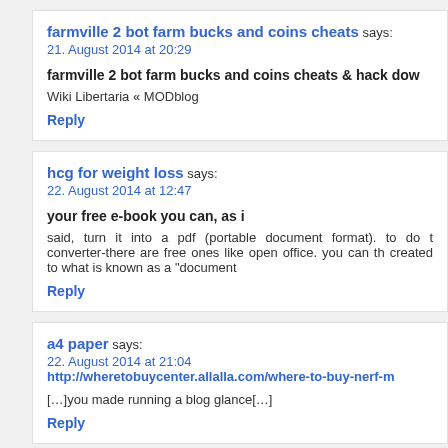farmville 2 bot farm bucks and coins cheats says:
21. August 2014 at 20:29
farmville 2 bot farm bucks and coins cheats & hack dow
Wiki Libertaria « MODblog
Reply
hcg for weight loss says:
22. August 2014 at 12:47
your free e-book you can, as i
said, turn it into a pdf (portable document format). to do t converter-there are free ones like open office. you can th created to what is known as a "document
Reply
a4 paper says:
22. August 2014 at 21:04
http://wheretobuycenter.allalla.com/where-to-buy-nerf-m
[...]you made running a blog glance[...]
Reply